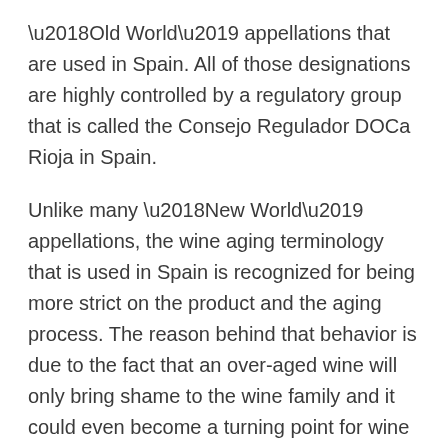‘Old World’ appellations that are used in Spain. All of those designations are highly controlled by a regulatory group that is called the Consejo Regulador DOCa Rioja in Spain.
Unlike many ‘New World’ appellations, the wine aging terminology that is used in Spain is recognized for being more strict on the product and the aging process. The reason behind that behavior is due to the fact that an over-aged wine will only bring shame to the wine family and it could even become a turning point for wine enjoyers. That is why the terms of Crianza, Reserva, and Gran Reserva were created, to